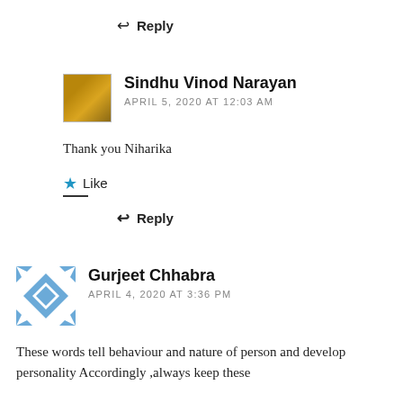↩ Reply
Sindhu Vinod Narayan
APRIL 5, 2020 AT 12:03 AM
Thank you Niharika
★ Like
↩ Reply
Gurjeet Chhabra
APRIL 4, 2020 AT 3:36 PM
These words tell behaviour and nature of person and develop personality Accordingly ,always keep these